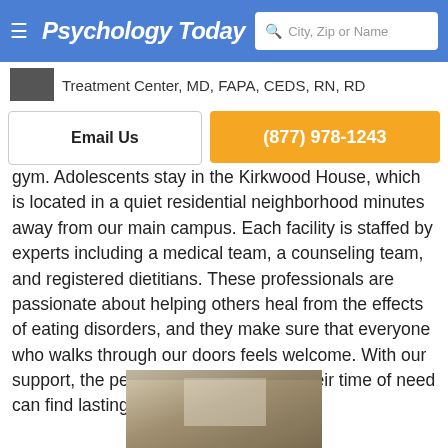Psychology Today | City, Zip or Name
Treatment Center, MD, FAPA, CEDS, RN, RD
Email Us | (877) 978-1243
gym. Adolescents stay in the Kirkwood House, which is located in a quiet residential neighborhood minutes away from our main campus. Each facility is staffed by experts including a medical team, a counseling team, and registered dietitians. These professionals are passionate about helping others heal from the effects of eating disorders, and they make sure that everyone who walks through our doors feels welcome. With our support, the people who turn to us in their time of need can find lasting recovery.
[Figure (photo): Interior room or ceiling of a treatment facility]